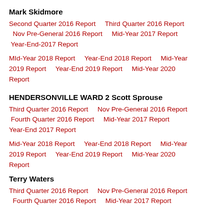Mark Skidmore
Second Quarter 2016 Report    Third Quarter 2016 Report    Nov Pre-General 2016 Report    Mid-Year 2017 Report    Year-End-2017 Report
MId-Year 2018 Report    Year-End 2018 Report    Mid-Year 2019 Report    Year-End 2019 Report    Mid-Year 2020 Report
HENDERSONVILLE WARD 2
Scott Sprouse
Third Quarter 2016 Report    Nov Pre-General 2016 Report    Fourth Quarter 2016 Report    Mid-Year 2017 Report    Year-End 2017 Report
Mid-Year 2018 Report    Year-End 2018 Report    Mid-Year 2019 Report    Year-End 2019 Report    Mid-Year 2020 Report
Terry Waters
Third Quarter 2016 Report    Nov Pre-General 2016 Report    Fourth Quarter 2016 Report    Mid-Year 2017 Report